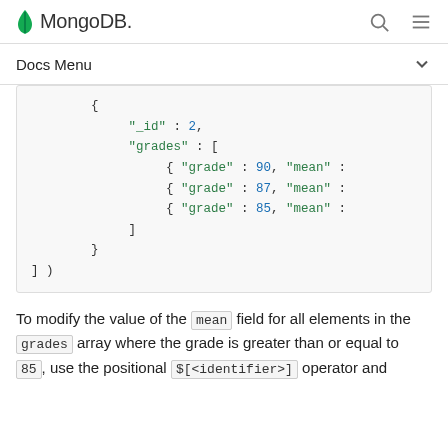MongoDB
Docs Menu
[Figure (screenshot): MongoDB code block showing a document with _id: 2 and grades array containing three objects with grade and mean fields (grades 90, 87, 85)]
To modify the value of the mean field for all elements in the grades array where the grade is greater than or equal to 85, use the positional $[<identifier>] operator and